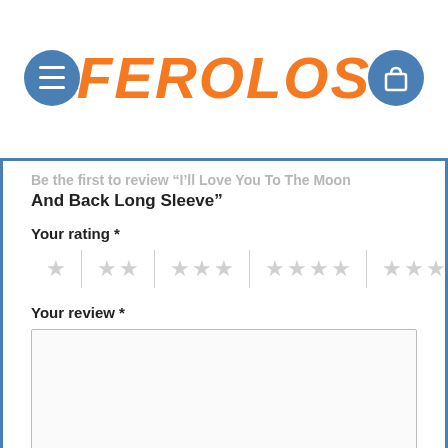FEROLOS
Be the first to review “I’ll Love You To The Moon And Back Long Sleeve”
Your rating *
Your review *
Name *